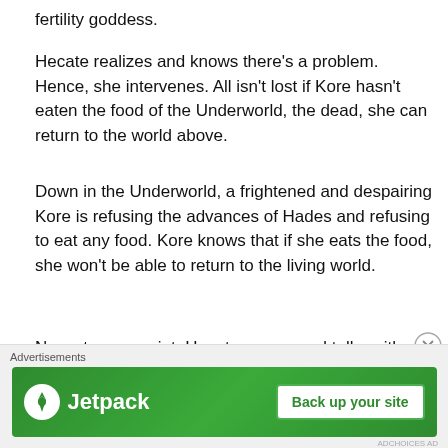fertility goddess.
Hecate realizes and knows there’s a problem. Hence, she intervenes. All isn’t lost if Kore hasn't eaten the food of the Underworld, the dead, she can return to the world above.
Down in the Underworld, a frightened and despairing Kore is refusing the advances of Hades and refusing to eat any food. Kore knows that if she eats the food, she won’t be able to return to the living world.
Now at some point, Hecate comes and talks with Kore. At some point, Kore falls in love with Hades or she sees the state of what the Underworld is like. A plot twist comes,
[Figure (other): Jetpack advertisement banner with logo and 'Back up your site' button on green background]